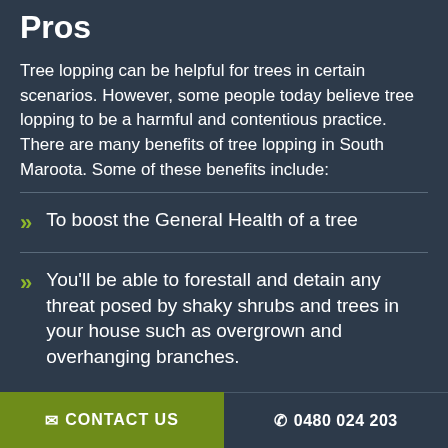Pros
Tree lopping can be helpful for trees in certain scenarios. However, some people today believe tree lopping to be a harmful and contentious practice. There are many benefits of tree lopping in South Maroota. Some of these benefits include:
To boost the General Health of a tree
You'll be able to forestall and detain any threat posed by shaky shrubs and trees in your house such as overgrown and overhanging branches.
CONTACT US   0480 024 203